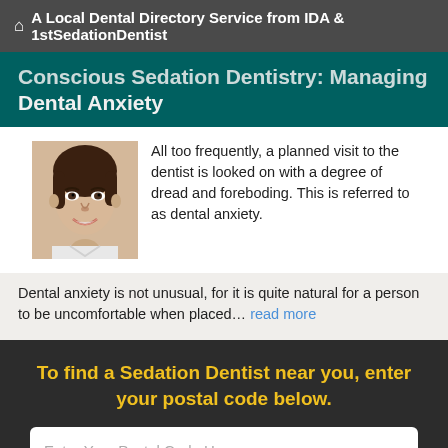A Local Dental Directory Service from IDA & 1stSedationDentist
Conscious Sedation Dentistry: Managing Dental Anxiety
[Figure (photo): Smiling woman with dark hair, portrait photo used as article thumbnail]
All too frequently, a planned visit to the dentist is looked on with a degree of dread and foreboding. This is referred to as dental anxiety.
Dental anxiety is not unusual, for it is quite natural for a person to be uncomfortable when placed... read more
To find a Sedation Dentist near you, enter your postal code below.
Enter Your Postal Code Here
Click Here To Find a Dentist